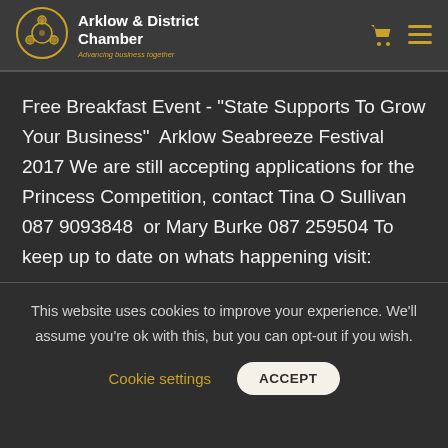Arklow & District Chamber — Advancing business together
Free Breakfast Event - "State Supports To Grow Your Business"  Arklow Seabreeze Festival 2017 We are still accepting applications for the Princess Competition, contact Tina O Sullivan  087 9093848  or Mary Burke 087 259504 To keep up to date on whats happening visit:
This website uses cookies to improve your experience. We'll assume you're ok with this, but you can opt-out if you wish.
Cookie settings    ACCEPT